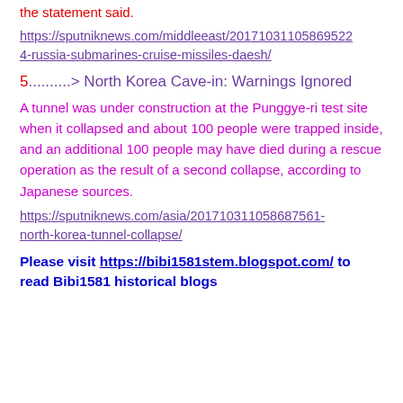the statement said.
https://sputniknews.com/middleeast/20171031105869522 4-russia-submarines-cruise-missiles-daesh/
5..........> North Korea Cave-in: Warnings Ignored
A tunnel was under construction at the Punggye-ri test site when it collapsed and about 100 people were trapped inside, and an additional 100 people may have died during a rescue operation as the result of a second collapse, according to Japanese sources.
https://sputniknews.com/asia/201710311058687561-north-korea-tunnel-collapse/
Please visit https://bibi1581stem.blogspot.com/ to read Bibi1581 historical blogs